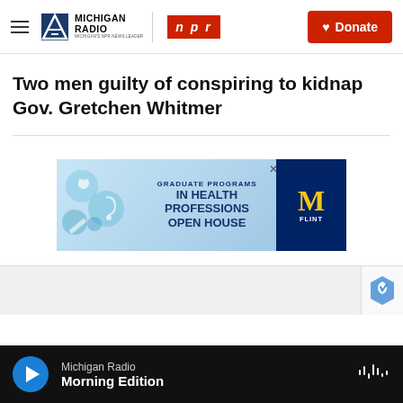Michigan Radio | NPR | Donate
Two men guilty of conspiring to kidnap Gov. Gretchen Whitmer
[Figure (other): Advertisement banner for University of Michigan Flint: Graduate Programs in Health Professions Open House]
Michigan Radio — Morning Edition (audio player bar)